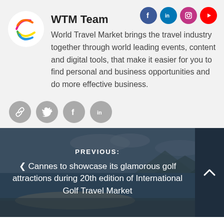[Figure (logo): WTM Team author profile with logo circle, social icons (Facebook, LinkedIn, Instagram, YouTube) at top right, author name and biography text, and share icon row]
WTM Team
World Travel Market brings the travel industry together through world leading events, content and digital tools, that make it easier for you to find personal and business opportunities and do more effective business.
[Figure (infographic): Navigation footer with PREVIOUS label and link: Cannes to showcase its glamorous golf attractions during 20th edition of International Golf Travel Market. Up arrow button on right.]